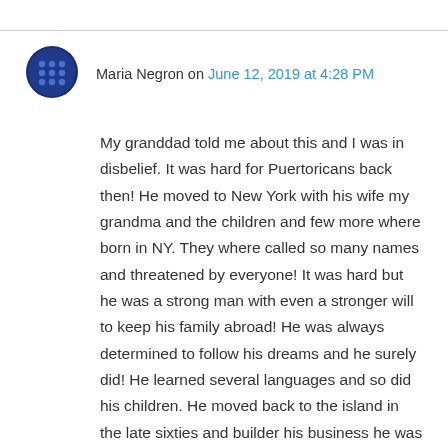[Figure (illustration): Dark blue avatar icon with a grid/dots pattern, roughly circular shape]
Maria Negron on June 12, 2019 at 4:28 PM
My granddad told me about this and I was in disbelief. It was hard for Puertoricans back then! He moved to New York with his wife my grandma and the children and few more where born in NY. They where called so many names and threatened by everyone! It was hard but he was a strong man with even a stronger will to keep his family abroad! He was always determined to follow his dreams and he surely did! He learned several languages and so did his children. He moved back to the island in the late sixties and builder his business he was the best at it. But one thing he always mentioned NEVER FEEL